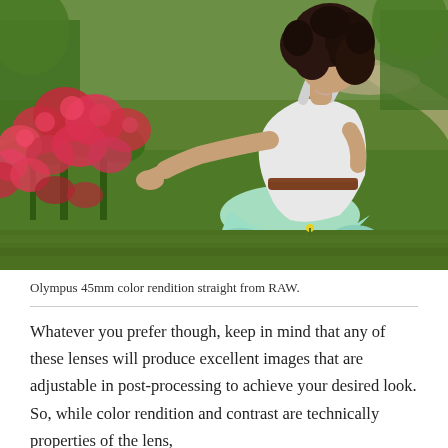[Figure (photo): A young woman with curly dark hair, wearing a white tank top and light blue/mint skirt, kneeling on green grass in a park, reaching toward a large bush of red/pink roses. Background shows more green grass and a winding path.]
Olympus 45mm color rendition straight from RAW.
Whatever you prefer though, keep in mind that any of these lenses will produce excellent images that are adjustable in post-processing to achieve your desired look. So, while color rendition and contrast are technically properties of the lens,